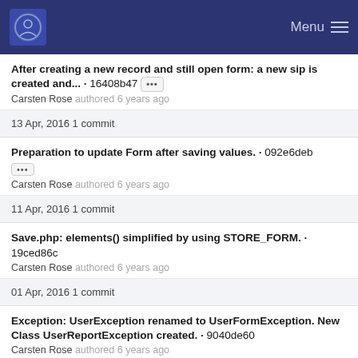Menu
After creating a new record and still open form: a new sip is created and... · 16408b47 [...] Carsten Rose authored 6 years ago
13 Apr, 2016 1 commit
Preparation to update Form after saving values. · 092e6deb [...] Carsten Rose authored 6 years ago
11 Apr, 2016 1 commit
Save.php: elements() simplified by using STORE_FORM. · 19ced86c Carsten Rose authored 6 years ago
01 Apr, 2016 1 commit
Exception: UserException renamed to UserFormException. New Class UserReportException created. · 9040de60 Carsten Rose authored 6 years ago